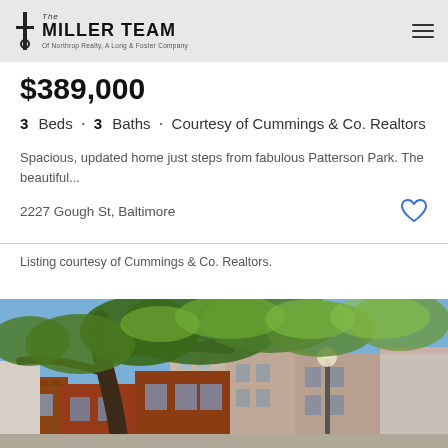The Miller Team of Northrop Realty, A Long & Foster Company
$389,000
3 Beds · 3 Baths · Courtesy of Cummings & Co. Realtors
Spacious, updated home just steps from fabulous Patterson Park. The beautiful...
2227 Gough St, Baltimore
Listing courtesy of Cummings & Co. Realtors.
[Figure (photo): Exterior photo of a brick rowhouse at 2227 Gough St, Baltimore, with large trees in the foreground and a street lamp, blue sky visible through the canopy.]